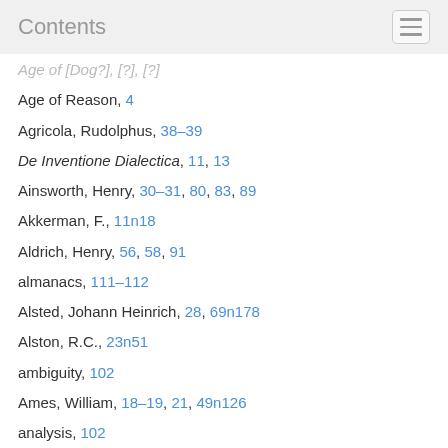Contents
Age of [Dog?], [?], [?]
Age of Reason, 4
Agricola, Rudolphus, 38–39
De Inventione Dialectica, 11, 13
Ainsworth, Henry, 30–31, 80, 83, 89
Akkerman, F., 11n18
Aldrich, Henry, 56, 58, 91
almanacs, 111–112
Alsted, Johann Heinrich, 28, 69n178
Alston, R.C., 23n51
ambiguity, 102
Ames, William, 18–19, 21, 49n126
analysis, 102
angelography, 68
Anglicans, 2, 56, 63, 92, 103, 120–124
antepredicaments, 79
arguments, 21–23, 50